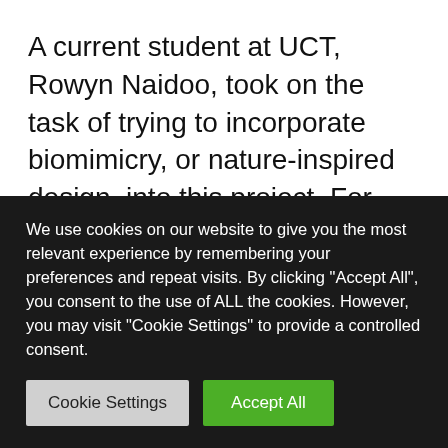A current student at UCT, Rowyn Naidoo, took on the task of trying to incorporate biomimicry, or nature-inspired design, into this project. For one, the biofilter setup itself acts as a kind of 'reconstructed wetland'; slowing down the water flow so that contaminants can settle, and microbes can act on the polluted stream and outcompete undesirable bacteria like E. coli. As a second nod to biomimicry, Rowyn looked to termite colonies
We use cookies on our website to give you the most relevant experience by remembering your preferences and repeat visits. By clicking "Accept All", you consent to the use of ALL the cookies. However, you may visit "Cookie Settings" to provide a controlled consent.